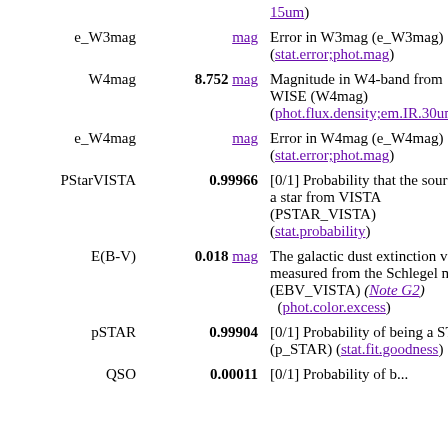| Name | Value/Unit | Description |
| --- | --- | --- |
|  | 15um) |  |
| e_W3mag | mag | Error in W3mag (e_W3mag) (stat.error;phot.mag) |
| W4mag | 8.752 mag | Magnitude in W4-band from WISE (W4mag) (phot.flux.density;em.IR.30um) |
| e_W4mag | mag | Error in W4mag (e_W4mag) (stat.error;phot.mag) |
| PStarVISTA | 0.99966 | [0/1] Probability that the source is a star from VISTA (PSTAR_VISTA) (stat.probability) |
| E(B-V) | 0.018 mag | The galactic dust extinction value measured from the Schlegel maps (EBV_VISTA) (Note G2) (phot.color.excess) |
| pSTAR | 0.99904 | [0/1] Probability of being a STAR (p_STAR) (stat.fit.goodness) |
| QSO | 0.00011 | [0/1] Probability of b... |